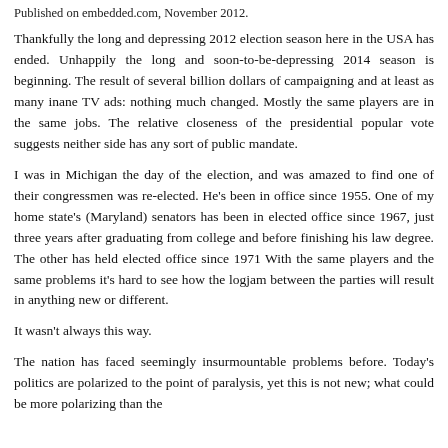Published on embedded.com, November 2012.
Thankfully the long and depressing 2012 election season here in the USA has ended. Unhappily the long and soon-to-be-depressing 2014 season is beginning. The result of several billion dollars of campaigning and at least as many inane TV ads: nothing much changed. Mostly the same players are in the same jobs. The relative closeness of the presidential popular vote suggests neither side has any sort of public mandate.
I was in Michigan the day of the election, and was amazed to find one of their congressmen was re-elected. He's been in office since 1955. One of my home state's (Maryland) senators has been in elected office since 1967, just three years after graduating from college and before finishing his law degree. The other has held elected office since 1971 With the same players and the same problems it's hard to see how the logjam between the parties will result in anything new or different.
It wasn't always this way.
The nation has faced seemingly insurmountable problems before. Today's politics are polarized to the point of paralysis, yet this is not new; what could be more polarizing than the